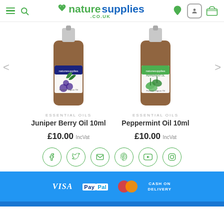[Figure (screenshot): naturesupplies.co.uk website header with logo, hamburger menu, search, heart, account, and basket icons]
[Figure (photo): Juniper Berry Oil 10ml product bottle from naturesupplies]
[Figure (photo): Peppermint Oil 10ml product bottle from naturesupplies]
ESSENTIAL OILS
Juniper Berry Oil 10ml
£10.00 IncVat
ESSENTIAL OILS
Peppermint Oil 10ml
£10.00 IncVat
[Figure (infographic): Social media icons row: Facebook, Twitter, Email, Pinterest, YouTube, Instagram — all in green circle outlines]
[Figure (infographic): Payment methods footer: VISA, PayPal, MasterCard, CASH ON DELIVERY on blue background]